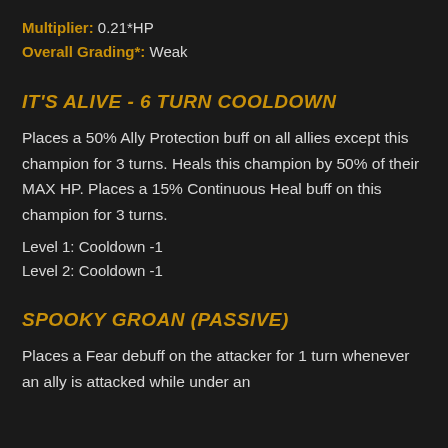Multiplier: 0.21*HP
Overall Grading*: Weak
IT'S ALIVE - 6 TURN COOLDOWN
Places a 50% Ally Protection buff on all allies except this champion for 3 turns. Heals this champion by 50% of their MAX HP. Places a 15% Continuous Heal buff on this champion for 3 turns.
Level 1: Cooldown -1
Level 2: Cooldown -1
SPOOKY GROAN (PASSIVE)
Places a Fear debuff on the attacker for 1 turn whenever an ally is attacked while under an